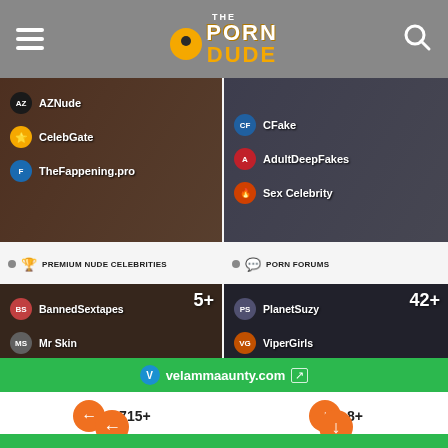[Figure (screenshot): The Porn Dude website header with logo, menu icon, and search icon]
[Figure (screenshot): Left category card showing celebrity nude sites: AZNude, CelebGate, TheFappening.pro]
[Figure (screenshot): Right category card showing deepfake sites: CFake, AdultDeepFakes, Sex Celebrity]
PREMIUM NUDE CELEBRITIES
PORN FORUMS
[Figure (screenshot): Premium Nude Celebrities card showing 5+ sites: BannedSextapes, Mr Skin, Vivid Celeb]
[Figure (screenshot): Porn Forums card showing 42+ sites: PlanetSuzy, ViperGirls, PorBB]
[Figure (screenshot): Green ad banner for velammaaunty.com]
3715+
All Porn Sites
8+
Premium Porn Comic Sites